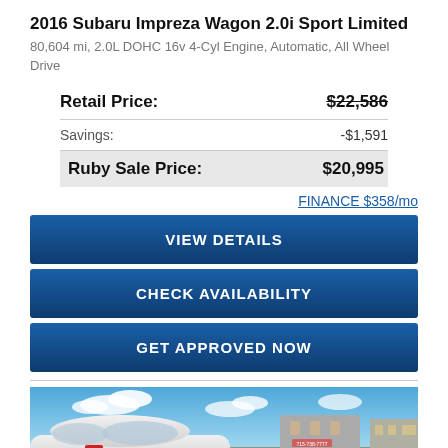2016 Subaru Impreza Wagon 2.0i Sport Limited
80,604 mi, 2.0L DOHC 16v 4-Cyl Engine, Automatic, All Wheel Drive
|  |  |
| --- | --- |
| Retail Price: | $22,586 |
| Savings: | -$1,591 |
| Ruby Sale Price: | $20,995 |
FINANCE $358/mo
VIEW DETAILS
CHECK AVAILABILITY
GET APPROVED NOW
[Figure (photo): Photo of a white 2016 Subaru Impreza Wagon in a car dealership lot with buildings in background under a blue sky]